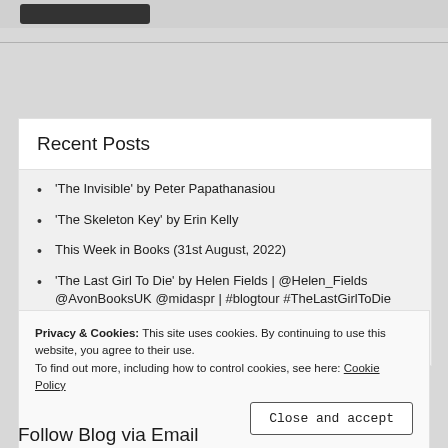Recent Posts
'The Invisible' by Peter Papathanasiou
'The Skeleton Key' by Erin Kelly
This Week in Books (31st August, 2022)
'The Last Girl To Die' by Helen Fields | @Helen_Fields @AvonBooksUK @midaspr | #blogtour #TheLastGirlToDie
This Week in Books (24th August, 2022)
Privacy & Cookies: This site uses cookies. By continuing to use this website, you agree to their use.
To find out more, including how to control cookies, see here: Cookie Policy
Close and accept
Follow Blog via Email